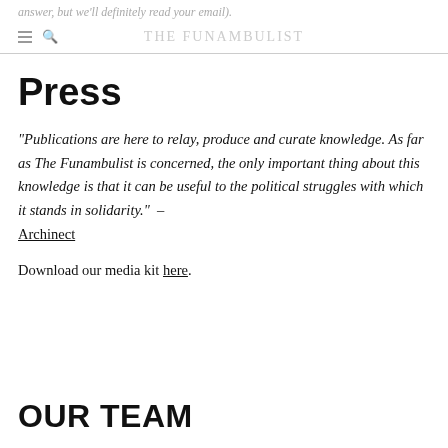answer, but we'll definitely read your email).
THE FUNAMBULIST
Press
“Publications are here to relay, produce and curate knowledge. As far as The Funambulist is concerned, the only important thing about this knowledge is that it can be useful to the political struggles with which it stands in solidarity.” – Archinect
Download our media kit here.
OUR TEAM